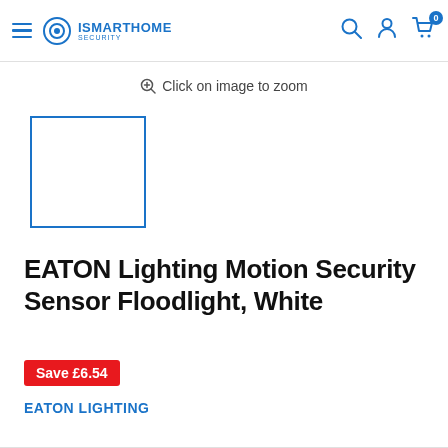ISMARTHOME SECURITY
Click on image to zoom
[Figure (other): Product thumbnail placeholder — empty white box with blue border]
EATON Lighting Motion Security Sensor Floodlight, White
Save £6.54
EATON LIGHTING